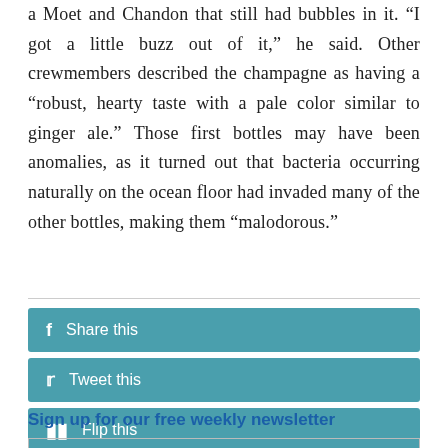a Moet and Chandon that still had bubbles in it. “I got a little buzz out of it,” he said. Other crewmembers described the champagne as having a “robust, hearty taste with a pale color similar to ginger ale.” Those first bottles may have been anomalies, as it turned out that bacteria occurring naturally on the ocean floor had invaded many of the other bottles, making them “malodorous.”
f  Share this
Tweet this
Flip this
Sign up for our free weekly newsletter